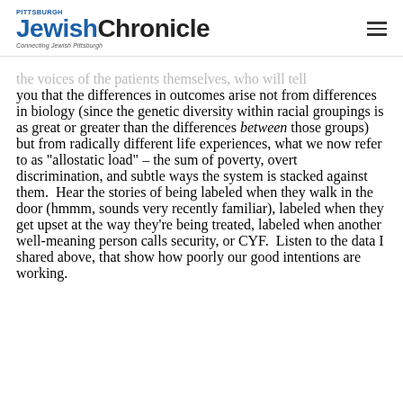Pittsburgh Jewish Chronicle — Connecting Jewish Pittsburgh
the voices of the patients themselves, who will tell you that the differences in outcomes arise not from differences in biology (since the genetic diversity within racial groupings is as great or greater than the differences between those groups) but from radically different life experiences, what we now refer to as “allostatic load” – the sum of poverty, overt discrimination, and subtle ways the system is stacked against them.  Hear the stories of being labeled when they walk in the door (hmmm, sounds very recently familiar), labeled when they get upset at the way they’re being treated, labeled when another well-meaning person calls security, or CYF.  Listen to the data I shared above, that show how poorly our good intentions are working.